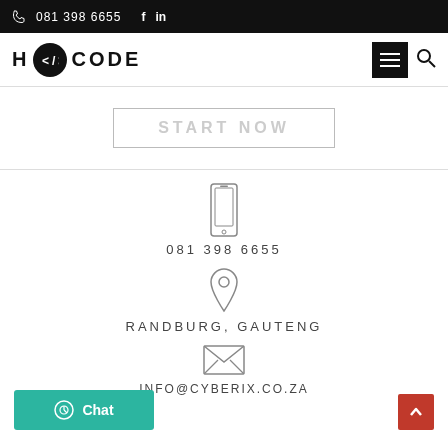081 398 6655  f  in
[Figure (logo): H CODE logo with code brackets icon in black circle]
[Figure (screenshot): START NOW button outline in hero banner area]
[Figure (illustration): Mobile phone icon]
081 398 6655
[Figure (illustration): Location pin icon]
RANDBURG, GAUTENG
[Figure (illustration): Envelope/mail icon]
INFO@CYBERIX.CO.ZA
Chat